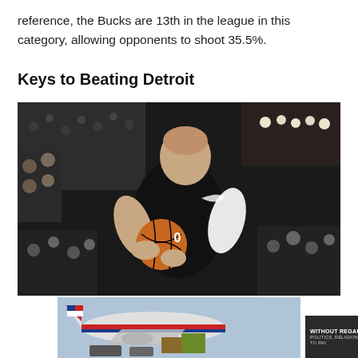reference, the Bucks are 13th in the league in this category, allowing opponents to shoot 35.5%.
Keys to Beating Detroit
[Figure (photo): A Milwaukee Bucks player wearing a black jersey with number 0 holds a basketball, preparing to shoot, with a crowd in the background.]
[Figure (photo): Advertisement banner showing an airplane being loaded, with text 'WITHOUT REGARD TO POLITICS, RELIGION, OR ABILITY TO PAY' on a dark background.]